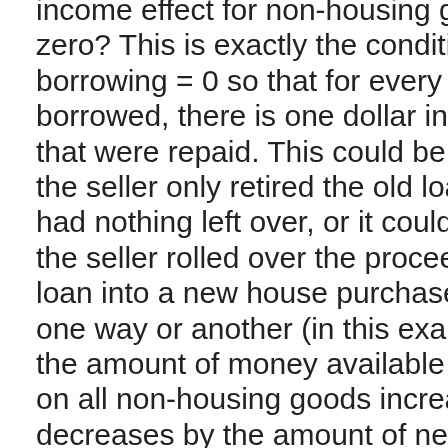income effect for non-housing goods is zero? This is exactly the condition net borrowing = 0 so that for every dollar borrowed, there is one dollar in debts that were repaid. This could be because the seller only retired the old loan and had nothing left over, or it could be that the seller rolled over the proceeds of the loan into a new house purchase. But one way or another (in this example), the amount of money available to spend on all non-housing goods increases or decreases by the amount of net borrowing for housing.